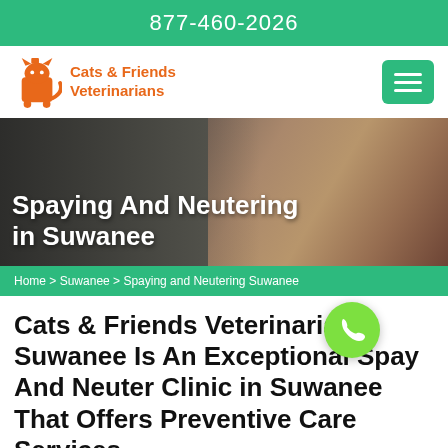877-460-2026
[Figure (logo): Cats & Friends Veterinarians logo with orange cat icon and orange text]
[Figure (photo): A cat wearing a medical cone collar, used as hero banner background image]
Spaying And Neutering in Suwanee
Home > Suwanee > Spaying and Neutering Suwanee
Cats & Friends Veterinarians Suwanee Is An Exceptional Spay And Neuter Clinic in Suwanee That Offers Preventive Care Services.